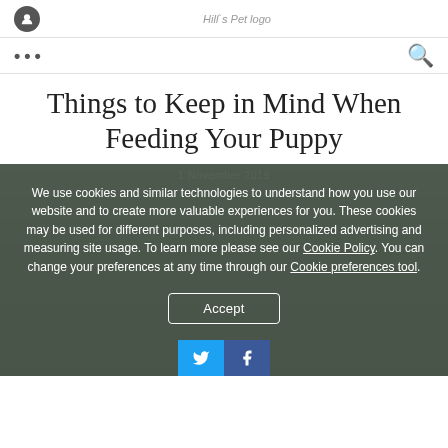Hill's Pet logo navigation with menu dots and search icon
Things to Keep in Mind When Feeding Your Puppy
1 November 2019
We use cookies and similar technologies to understand how you use our website and to create more valuable experiences for you. These cookies may be used for different purposes, including personalized advertising and measuring site usage. To learn more please see our Cookie Policy. You can change your preferences at any time through our Cookie preferences tool.
Accept